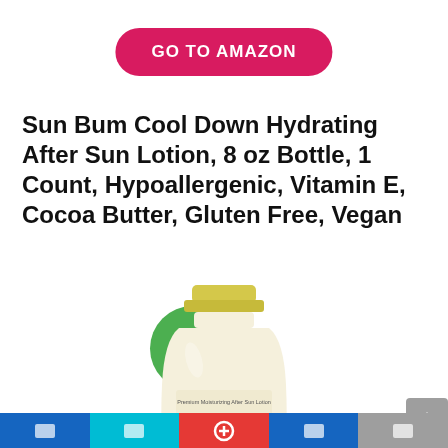[Figure (other): Pink/red pill-shaped button with white uppercase text 'GO TO AMAZON']
Sun Bum Cool Down Hydrating After Sun Lotion, 8 oz Bottle, 1 Count, Hypoallergenic, Vitamin E, Cocoa Butter, Gluten Free, Vegan
[Figure (other): Green circular discount badge showing '-20%']
[Figure (photo): Sun Bum lotion bottle with yellow cap, white bottle body with 'Premium Moisturizing After Sun Lotion' and 'SUN' visible on label]
[Figure (other): Gray scroll-to-top button with upward chevron arrow on right side]
Bottom navigation bar with blue, cyan, red, blue, and gray segments with white icons